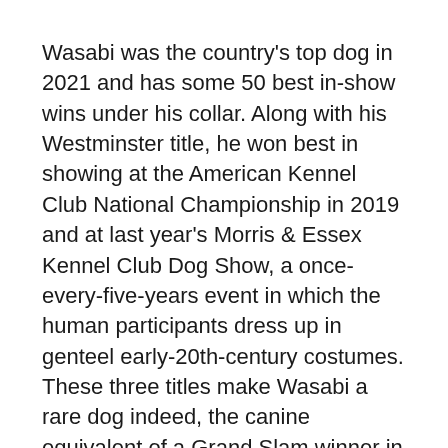Wasabi was the country's top dog in 2021 and has some 50 best in-show wins under his collar. Along with his Westminster title, he won best in showing at the American Kennel Club National Championship in 2019 and at last year's Morris & Essex Kennel Club Dog Show, a once-every-five-years event in which the human participants dress up in genteel early-20th-century costumes. These three titles make Wasabi a rare dog indeed, the canine equivalent of a Grand Slam winner in tennis.
But he has hardly spent this time wearing a teeny tiara or taking a Miss America-style championship lap around the country. Wasabi's life is much the same as it ever